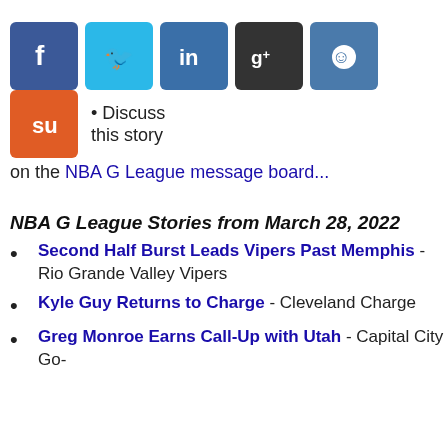[Figure (other): Row of six social media share buttons: Facebook (blue), Twitter (light blue), LinkedIn (blue), Google+ (dark gray), Reddit (blue), StumbleUpon (orange). Followed by text: • Discuss this story on the NBA G League message board...]
NBA G League Stories from March 28, 2022
Second Half Burst Leads Vipers Past Memphis - Rio Grande Valley Vipers
Kyle Guy Returns to Charge - Cleveland Charge
Greg Monroe Earns Call-Up with Utah - Capital City Go-